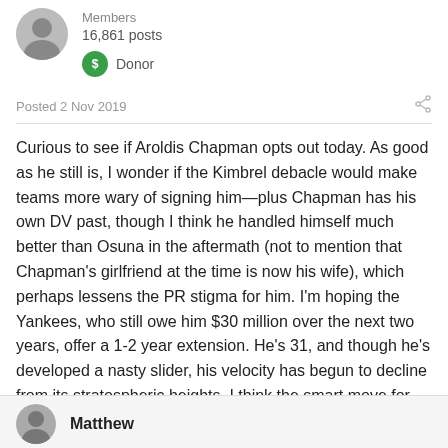Members
16,861 posts
Donor
Posted 2 Nov 2019
Curious to see if Aroldis Chapman opts out today. As good as he still is, I wonder if the Kimbrel debacle would make teams more wary of signing him—plus Chapman has his own DV past, though I think he handled himself much better than Osuna in the aftermath (not to mention that Chapman's girlfriend at the time is now his wife), which perhaps lessens the PR stigma for him. I'm hoping the Yankees, who still owe him $30 million over the next two years, offer a 1-2 year extension. He's 31, and though he's developed a nasty slider, his velocity has begun to decline from its stratospheric heights. I think the smart move for him would be to go for an extension as well.
Matthew